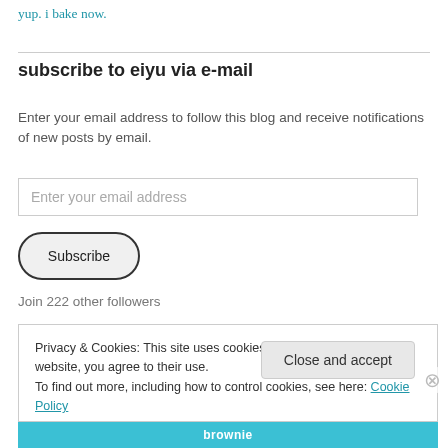yup. i bake now.
subscribe to eiyu via e-mail
Enter your email address to follow this blog and receive notifications of new posts by email.
Join 222 other followers
Privacy & Cookies: This site uses cookies. By continuing to use this website, you agree to their use.
To find out more, including how to control cookies, see here: Cookie Policy